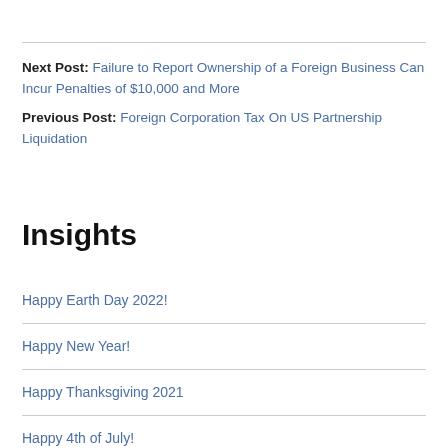Next Post: Failure to Report Ownership of a Foreign Business Can Incur Penalties of $10,000 and More
Previous Post: Foreign Corporation Tax On US Partnership Liquidation
Insights
Happy Earth Day 2022!
Happy New Year!
Happy Thanksgiving 2021
Happy 4th of July!
Happy Earth Day 2021!